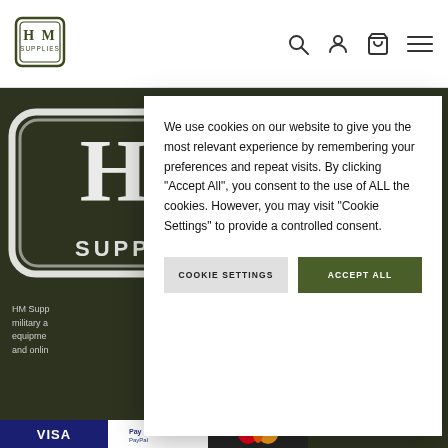HM Supplies — website header with logo and navigation icons
[Figure (logo): HM Supplies logo — dark green square border with H M text and SUPPLIES below]
[Figure (illustration): Large HM Supplies distressed stamp logo on dark green background]
HM Supplies military and equipment and online
We use cookies on our website to give you the most relevant experience by remembering your preferences and repeat visits. By clicking "Accept All", you consent to the use of ALL the cookies. However, you may visit "Cookie Settings" to provide a controlled consent.
COOKIE SETTINGS   ACCEPT ALL